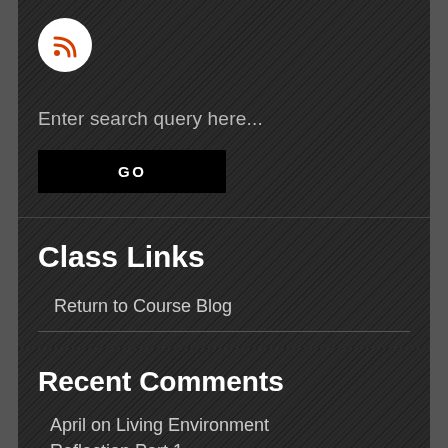[Figure (logo): RSS feed icon — white circle with red RSS symbol]
Enter search query here...
GO
Class Links
Return to Course Blog
Recent Comments
April on Living Environment Reflection Part 1